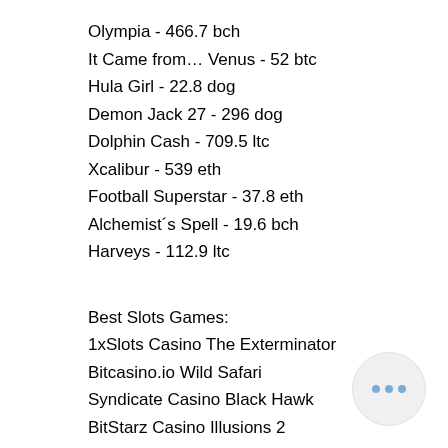Olympia - 466.7 bch
It Came from… Venus - 52 btc
Hula Girl - 22.8 dog
Demon Jack 27 - 296 dog
Dolphin Cash - 709.5 ltc
Xcalibur - 539 eth
Football Superstar - 37.8 eth
Alchemist´s Spell - 19.6 bch
Harveys - 112.9 ltc
Best Slots Games:
1xSlots Casino The Exterminator
Bitcasino.io Wild Safari
Syndicate Casino Black Hawk
BitStarz Casino Illusions 2
Cloudbet Casino Cold Cash
BetChain Casino Pampa Treasures
Betchan Casino Hot Scatter
BitcoinCasino.us Merlins Magic Respins Christmas